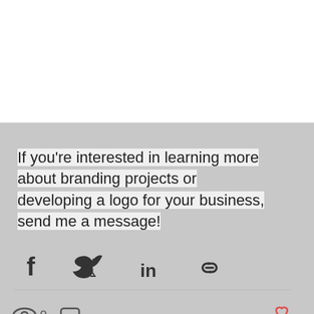[Figure (logo): Jeronimo Creative logo with grey and green text]
[Figure (photo): Banner photo of hair salon tools and products on a light blue background]
If you're interested in learning more about branding projects or developing a logo for your business, send me a message!
[Figure (infographic): Social share icons: Facebook, Twitter, LinkedIn, link icon]
[Figure (infographic): View count eye icon with 0, comment icon, heart icon, and navigation dots]